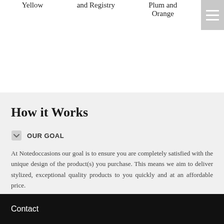Yellow
and Registry
Plum and Orange
[Figure (other): Hamburger menu icon button with three white horizontal lines on a gray background]
How it Works
OUR GOAL
At Notedoccasions our goal is to ensure you are completely satisfied with the unique design of the product(s) you purchase. This means we aim to deliver stylized, exceptional quality products to you quickly and at an affordable price.
Contact